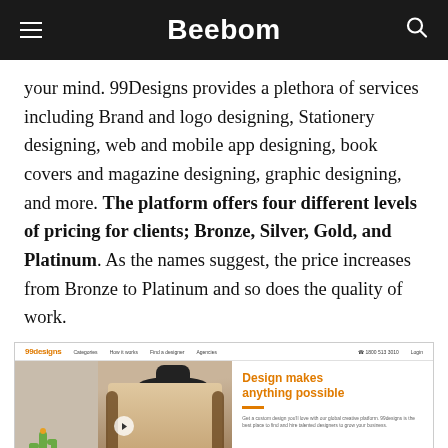Beebom
your mind. 99Designs provides a plethora of services including Brand and logo designing, Stationery designing, web and mobile app designing, book covers and magazine designing, graphic designing, and more. The platform offers four different levels of pricing for clients; Bronze, Silver, Gold, and Platinum. As the names suggest, the price increases from Bronze to Platinum and so does the quality of work.
[Figure (screenshot): Screenshot of the 99designs website homepage showing the logo, navigation links (Categories, How it works, Find a designer, Agencies), phone number and login on the right, a background image of a woman in a black hat with a cactus, and the tagline 'Design makes anything possible' in orange with a short description below.]